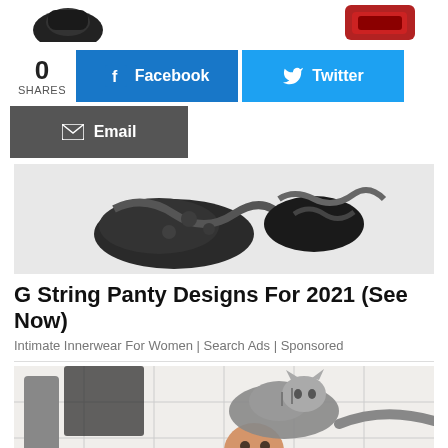[Figure (photo): Two product images partially visible at top of page — a dark/black item on the left and a red item on the right]
0
SHARES
f  Facebook
Twitter
Email
[Figure (photo): Dark lingerie items — black and gray lace/fabric undergarments arranged on white background]
G String Panty Designs For 2021 (See Now)
Intimate Innerwear For Women | Search Ads | Sponsored
[Figure (photo): Man smiling in bathroom with a cat sitting on his head/shoulders, white subway tile background]